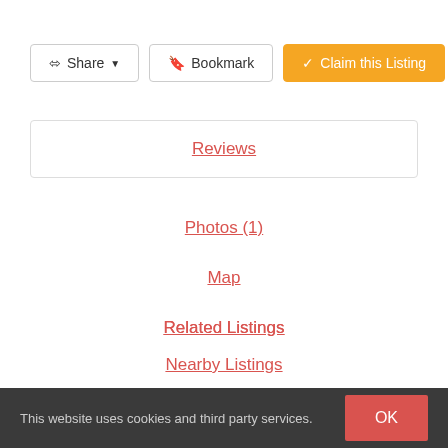Share
Bookmark
Claim this Listing
Reviews
Photos (1)
Map
Related Listings
Nearby Listings
Filter   Sort by: Helpfulness
This website uses cookies and third party services.
OK